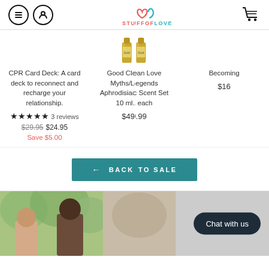STUFFOFLOVE navigation header
[Figure (photo): Two gold bottles of Good Clean Love product]
CPR Card Deck: A card deck to reconnect and recharge your relationship.
★★★★★ 3 reviews
$29.95 $24.95
Save $5.00
Good Clean Love Myths/Legends Aphrodisiac Scent Set 10 ml. each
$49.99
Becoming
$16
← BACK TO SALE
[Figure (photo): Two people outdoors — couple photo in footer section]
Chat with us